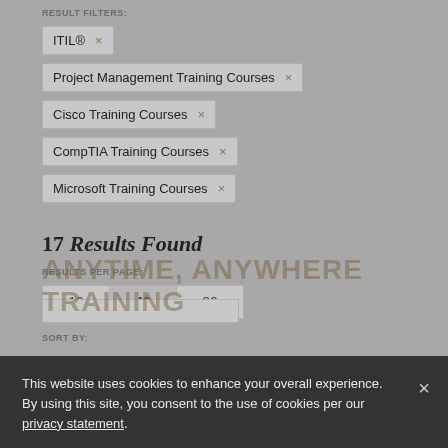RESULT FILTERS:
ITIL® ×
Project Management Training Courses ×
Cisco Training Courses ×
CompTIA Training Courses ×
Microsoft Training Courses ×
17 Results Found
RESULTS PER PAGE:
10   40   80
SORT BY:
This website uses cookies to enhance your overall experience. By using this site, you consent to the use of cookies per our privacy statement.
ANYTIME, ANYWHERE TRAINING